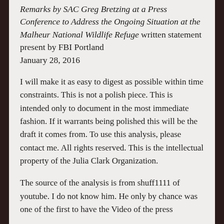Remarks by SAC Greg Bretzing at a Press Conference to Address the Ongoing Situation at the Malheur National Wildlife Refuge written statement present by FBI Portland January 28, 2016
I will make it as easy to digest as possible within time constraints. This is not a polish piece. This is intended only to document in the most immediate fashion. If it warrants being polished this will be the draft it comes from. To use this analysis, please contact me. All rights reserved. This is the intellectual property of the Julia Clark Organization.
The source of the analysis is from shuff1111 of youtube. I do not know him. He only by chance was one of the first to have the Video of the press